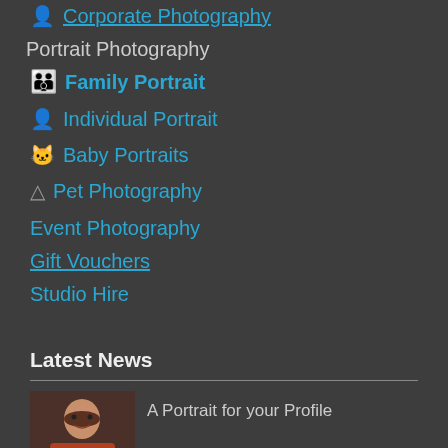Corporate Photography
Portrait Photography
Family Portrait
Individual Portrait
Baby Portraits
Pet Photography
Event Photography
Gift Vouchers
Studio Hire
Latest News
A Portrait for your Profile